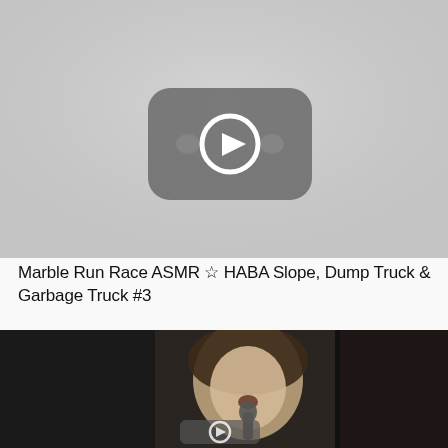[Figure (screenshot): YouTube video thumbnail showing the YouTube play button logo on a light gray background]
Marble Run Race ASMR ☆ HABA Slope, Dump Truck & Garbage Truck #3
[Figure (screenshot): Dark video thumbnail showing a young woman singing into a microphone, with a partial YouTube play button visible at the bottom]